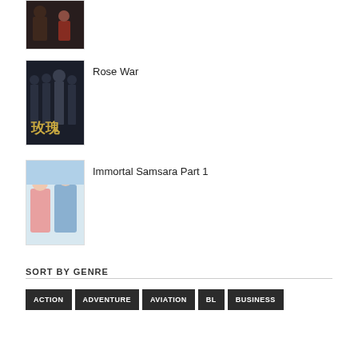[Figure (photo): Thumbnail image of a drama scene with two people in dim lighting]
[Figure (photo): Thumbnail image for Rose War drama showing group of people in formal attire with Chinese characters 玫瑰]
Rose War
[Figure (photo): Thumbnail image for Immortal Samsara Part 1 showing a woman in pink and man in blue-white attire]
Immortal Samsara Part 1
SORT BY GENRE
ACTION
ADVENTURE
AVIATION
BL
BUSINESS